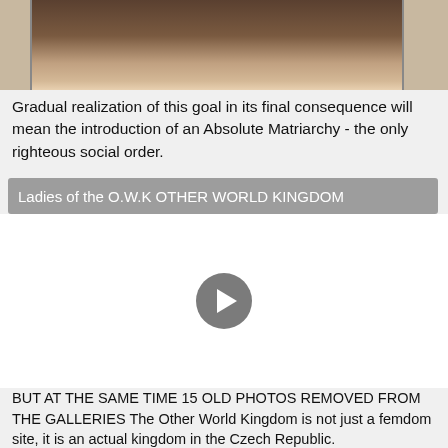[Figure (photo): Partial photo showing lower torso of a person wearing a black outfit, cropped at the top of the page]
Gradual realization of this goal in its final consequence will mean the introduction of an Absolute Matriarchy - the only righteous social order.
Ladies of the O.W.K OTHER WORLD KINGDOM
[Figure (screenshot): Video player with play button in center, white background]
BUT AT THE SAME TIME 15 OLD PHOTOS REMOVED FROM THE GALLERIES The Other World Kingdom is not just a femdom site, it is an actual kingdom in the Czech Republic.